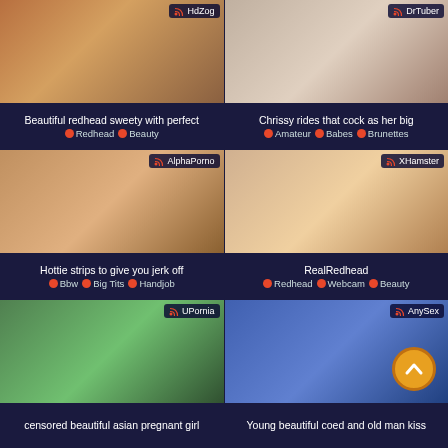[Figure (screenshot): Thumbnail grid of video thumbnails with titles and tags on dark blue background. Six video cards arranged 2x3.]
Beautiful redhead sweety with perfect
Redhead · Beauty
Chrissy rides that cock as her big
Amateur · Babes · Brunettes
Hottie strips to give you jerk off
Bbw · Big Tits · Handjob
RealRedhead
Redhead · Webcam · Beauty
censored beautiful asian pregnant girl
Young beautiful coed and old man kiss